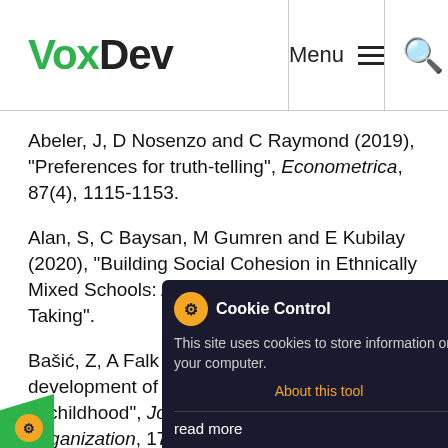[Figure (logo): VoxDev logo with green 'Vox' and black 'Dev' text, plus navigation menu icon and search icon in header]
Abeler, J, D Nosenzo and C Raymond (2019), "Preferences for truth-telling", Econometrica, 87(4), 1115-1153.
Alan, S, C Baysan, M Gumren and E Kubilay (2020), "Building Social Cohesion in Ethnically Mixed Schools: An Intervention on Perspective Taking".
Bašić, Z, A Falk and F Kosse (2020), "The development of egalitarian norm enforcement in childhood", Journal of Economic Behavior & Organization, 179, 667-680.
inger, L and R Slonim (2006), "Using experimental
[Figure (screenshot): Cookie Control popup overlay with orange gear icon, close button, message 'This site uses cookies to store information on your computer.', 'About this tool' link in orange, and 'read more' button]